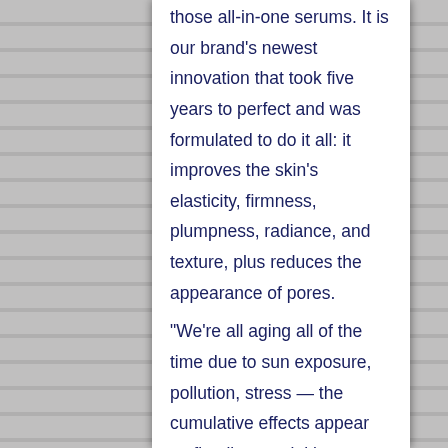those all-in-one serums. It is our brand's newest innovation that took five years to perfect and was formulated to do it all: it improves the skin's elasticity, firmness, plumpness, radiance, and texture, plus reduces the appearance of pores.
“We’re all aging all of the time due to sun exposure, pollution, stress — the cumulative effects appear as fine lines, wrinkles, sagging, loss of elasticity, dullness, enlarged pores, and dryness,” co-founder of the brand Katie Rodan, MD, tells us “A product specifically designed with ingredients to energize surface skin cells, especially one that could be used by people of all ages, was